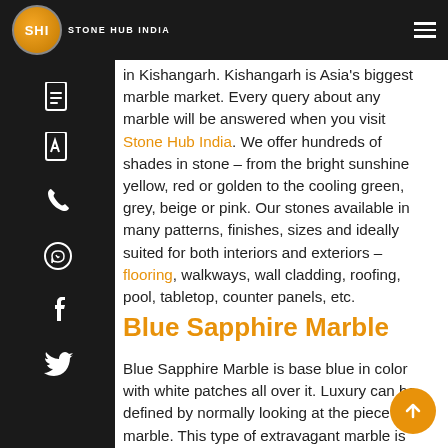Stone Hub India — logo and navigation header
Stone Hub India is the Best Imported Marble Supplier in Kishangarh. Kishangarh is Asia's biggest marble market. Every query about any marble will be answered when you visit Stone Hub India. We offer hundreds of shades in stone – from the bright sunshine yellow, red or golden to the cooling green, grey, beige or pink. Our stones available in many patterns, finishes, sizes and ideally suited for both interiors and exteriors – flooring, walkways, wall cladding, roofing, pool, tabletop, counter panels, etc.
Blue Sapphire Marble
Blue Sapphire Marble is base blue in color with white patches all over it. Luxury can be defined by normally looking at the piece of marble. This type of extravagant marble is best suited for